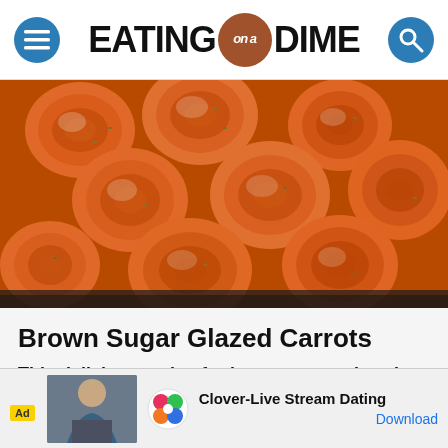EATING on a DIME
[Figure (photo): Close-up photo of brown sugar glazed carrot slices cooked in a dark skillet, glistening with glaze and sprinkled with herbs]
Brown Sugar Glazed Carrots
This delicious recipe for brown sugar glazed carrots is ... and they are easy. Try it today.
[Figure (infographic): Advertisement overlay: Ad label, image of a woman, Clover-Live Stream Dating app logo and name, Download button]